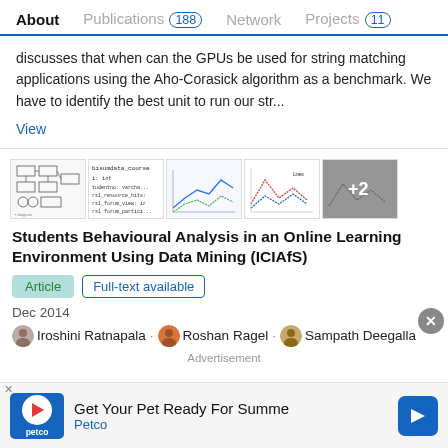About   Publications 188   Network   Projects 11
discusses that when can the GPUs be used for string matching applications using the Aho-Corasick algorithm as a benchmark. We have to identify the best unit to run our str...
View
[Figure (screenshot): Thumbnails of figures: flowchart/diagram, database schema text, line charts (blue curve), line charts (dotted red/blue), and one more with +2 overlay]
Students Behavioural Analysis in an Online Learning Environment Using Data Mining (ICIAfS)
Article   Full-text available
Dec 2014
Iroshini Ratnapala · Roshan Ragel · Sampath Deegalla
[Figure (screenshot): Advertisement banner: Petco - Get Your Pet Ready For Summer]